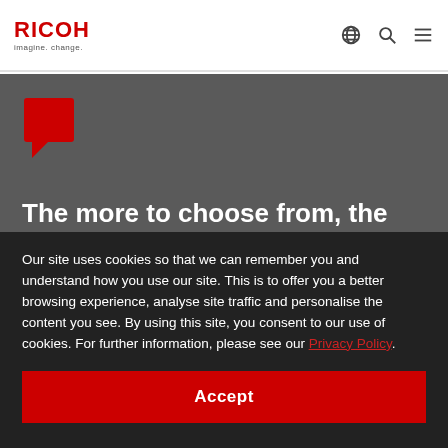RICOH imagine. change.
[Figure (logo): RICOH red speech-bubble icon on dark grey hero background]
The more to choose from, the better
Our site uses cookies so that we can remember you and understand how you use our site. This is to offer you a better browsing experience, analyse site traffic and personalise the content you see. By using this site, you consent to our use of cookies. For further information, please see our Privacy Policy.
Accept